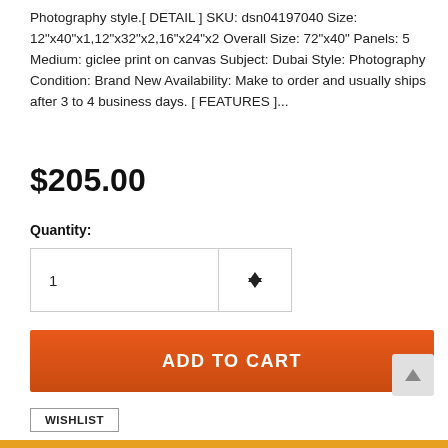Photography style.[ DETAIL ] SKU: dsn04197040 Size: 12"x40"x1,12"x32"x2,16"x24"x2 Overall Size: 72"x40" Panels: 5 Medium: giclee print on canvas Subject: Dubai Style: Photography Condition: Brand New Availability: Make to order and usually ships after 3 to 4 business days. [ FEATURES ]...
$205.00
Quantity:
1
ADD TO CART
WISHLIST
To add this product to your wish list you must Sign In or Create an account